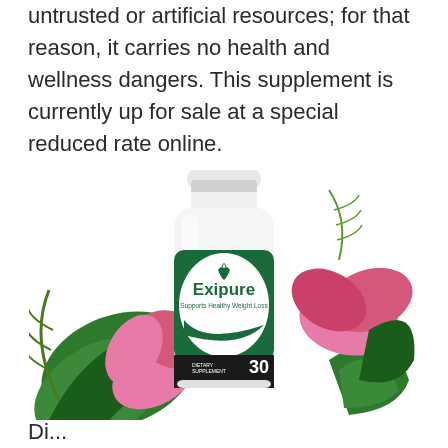untrusted or artificial resources; for that reason, it carries no health and wellness dangers. This supplement is currently up for sale at a special reduced rate online.
[Figure (photo): Product bottle of Exipure dietary supplement labeled 'Supports Healthy Weight Loss', 30 vegetable capsules, surrounded by tropical green leaves and pink flowers on a white background.]
Di...